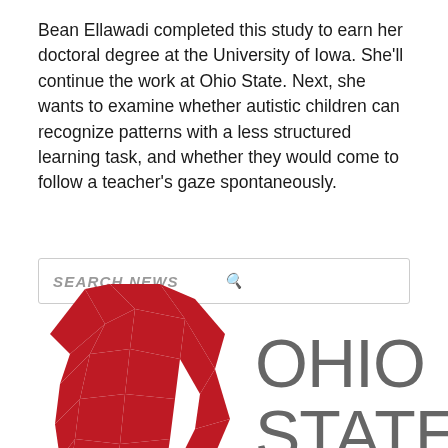Bean Ellawadi completed this study to earn her doctoral degree at the University of Iowa. She'll continue the work at Ohio State. Next, she wants to examine whether autistic children can recognize patterns with a less structured learning task, and whether they would come to follow a teacher's gaze spontaneously.
[Figure (screenshot): Search bar with placeholder text 'SEARCH NEWS' and a magnifying glass icon on the right]
[Figure (logo): Ohio State University logo: red geometric faceted shape on the left and 'OHIO STATE' text in gray on the right]